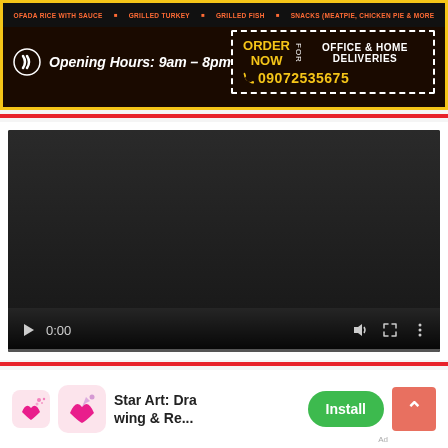[Figure (infographic): Restaurant advertisement banner with dark background and yellow border. Shows menu items at top: OFADA RICE WITH SAUCE, GRILLED TURKEY, GRILLED FISH, SNACKS (MEATPIE, CHICKEN PIE & MORE). Opening Hours: 9am - 8pm. ORDER NOW FOR OFFICE & HOME DELIVERIES with phone number 09072535675.]
[Figure (screenshot): Video player with black/dark grey background showing a paused video at 0:00. Controls include play button, time display '0:00', volume icon, fullscreen icon, and options icon. Progress bar at bottom.]
[Figure (infographic): Mobile app install advertisement. Shows Star Art: Drawing & Re... app icon and install button (green). Scroll-to-top button (red/pink) on right side.]